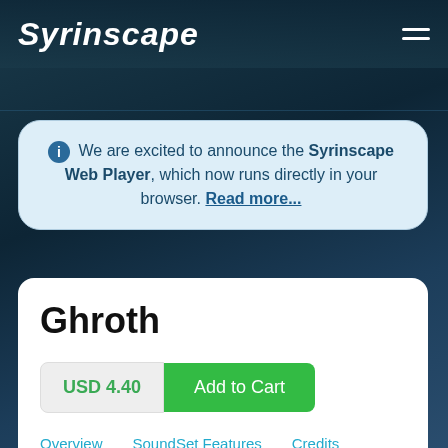Syrinscape
We are excited to announce the Syrinscape Web Player, which now runs directly in your browser. Read more...
Ghroth
USD 4.40  Add to Cart
Overview
SoundSet Features
Credits